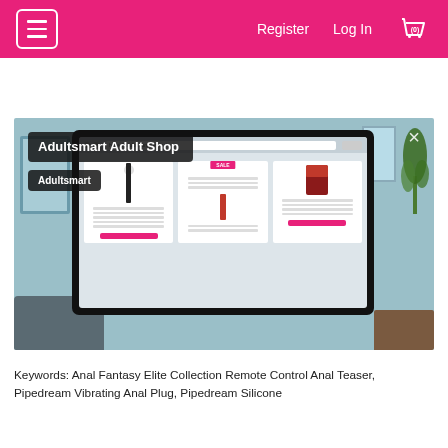Register  Log In  (0)
[Figure (screenshot): Screenshot of Adultsmart Adult Shop website showing product listings on a monitor, with overlay labels 'Adultsmart Adult Shop' and 'Adultsmart', displayed in a room setting with a close X button.]
Keywords: Anal Fantasy Elite Collection Remote Control Anal Teaser, Pipedream Vibrating Anal Plug, Pipedream Silicone